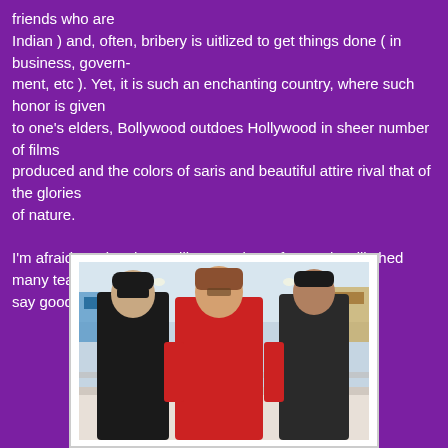friends who are Indian ) and, often, bribery is uitlized to get things done ( in business, govern-ment, etc ). Yet, it is such an enchanting country, where such honor is given to one's elders, Bollywood outdoes Hollywood in sheer number of films produced and the colors of saris and beautiful attire rival that of the glories of nature.

I'm afraid my time here will go much too fast and I will shed many tears as I say goodbye to India. I can't bear to think about it now.
[Figure (photo): Three people posing together inside a shopping mall. A young man with sunglasses on the left in a black shirt, a woman in a red top in the center, and a young man on the right in a dark shirt.]